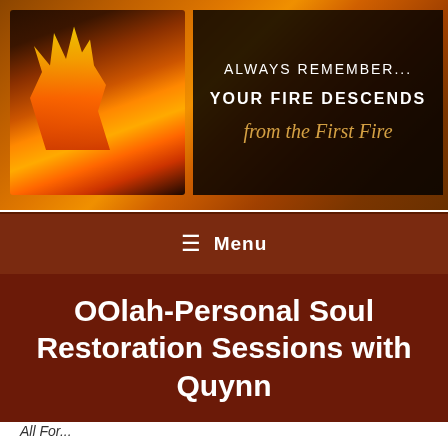[Figure (photo): Header banner image with a fireplace/fire photo on the left and a dark overlay text panel on the right reading 'ALWAYS REMEMBER... YOUR FIRE DESCENDS from the First Fire']
≡ Menu
OOlah-Personal Soul Restoration Sessions with Quynn
All For...